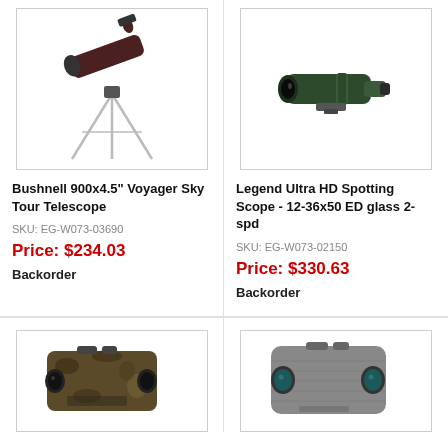[Figure (photo): Bushnell 900x4.5 Voyager Sky Tour Telescope on white tripod]
Bushnell 900x4.5" Voyager Sky Tour Telescope
SKU: EG-W073-03690
Price: $234.03
Backorder
[Figure (photo): Legend Ultra HD Spotting Scope 12-36x50 ED glass 2-spd, dark green]
Legend Ultra HD Spotting Scope - 12-36x50 ED glass 2-spd
SKU: EG-W073-02150
Price: $330.63
Backorder
[Figure (photo): Camo rangefinder device]
[Figure (photo): Grey rangefinder device]